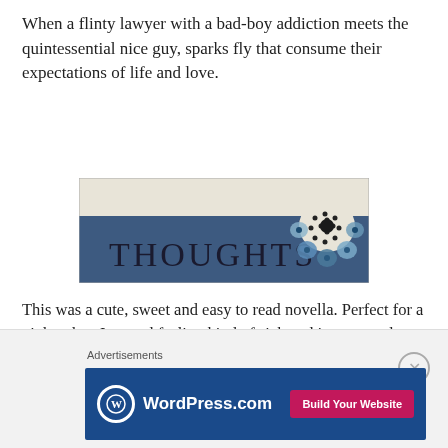When a flinty lawyer with a bad-boy addiction meets the quintessential nice guy, sparks fly that consume their expectations of life and love.
[Figure (illustration): A decorative banner image with a blue/denim background and floral embellishment in the upper right corner. The word 'THOUGHTS' is printed in large serif letters across the blue section.]
This was a cute, sweet and easy to read novella. Perfect for a night when I started feeling kind of sick and just wanted to curl up in a ball with a nice romance…
To be honest, this story mostly just made me want my own hunky Irish man dressed up in a Santa suit… I could almost hear that wonderful Irish lilt as I read this story. Which was
Advertisements
[Figure (screenshot): WordPress.com advertisement banner with blue background, WordPress logo and text, and a pink 'Build Your Website' button.]